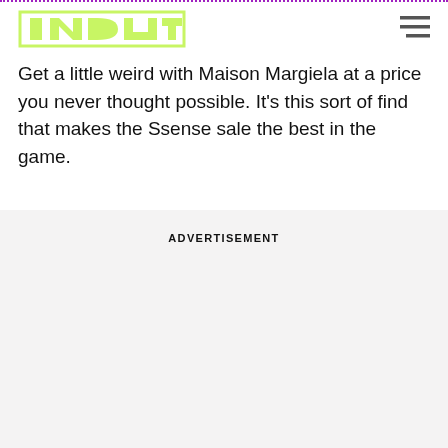INPUT
Get a little weird with Maison Margiela at a price you never thought possible. It's this sort of find that makes the Ssense sale the best in the game.
ADVERTISEMENT